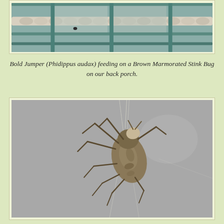[Figure (photo): Close-up photo of a Bold Jumper spider feeding on a Brown Marmorated Stink Bug on a back porch railing with rope/chain visible in background. Teal/blue-green metal fence rails visible.]
Bold Jumper (Phidippus audax) feeding on a Brown Marmorated Stink Bug on our back porch.
[Figure (photo): Photo of a spider (likely an orb weaver) suspended on a web against a plain gray background, showing its underside with legs spread out.]